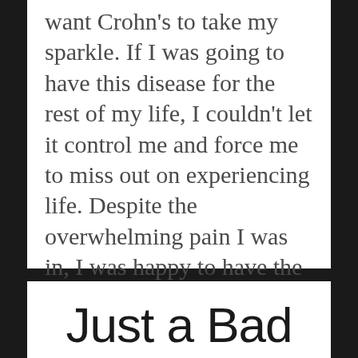want Crohn's to take my sparkle. If I was going to have this disease for the rest of my life, I couldn't let it control me and force me to miss out on experiencing life. Despite the overwhelming pain I was in, I was happy to have the memories from that day of my friends and family.
Just a Bad